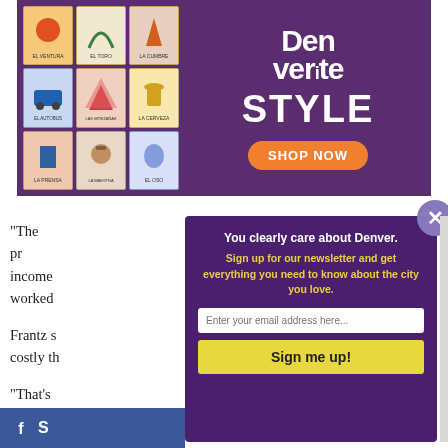[Figure (illustration): Denverite Style advertisement with lotería-style cards on the left and 'Den ver ite STYLE' text with a 'SHOP NOW' orange button on dark purple background.]
“The pr… income… worked…
Frantz s… costly th…
“That’s…
[Figure (screenshot): Newsletter signup modal overlay on purple background. Heading: 'You clearly care about Denver.' Subheading in yellow: 'Sign up for our newsletter and get everything you need to know about the city you love.' Email input field and 'Sign me up!' yellow button. Close button (X) at top right.]
S… (Facebook share bar)